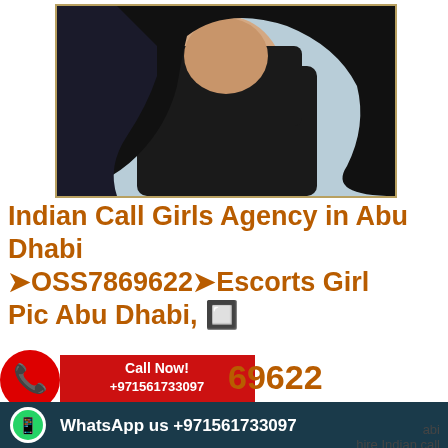[Figure (photo): Photo of a woman with long dark hair wearing black clothing against a light blue background]
Indian Call Girls Agency in Abu Dhabi ➤OSS7869622➤Escorts Girl Pic Abu Dhabi, 🔲 ➤OSS7869622
[Figure (infographic): Red Call Now badge with phone icon showing +971561733097]
Indian Call Girls Agency in Abu Dhabi
[Figure (infographic): Dark teal WhatsApp bar with WhatsApp icon and text: WhatsApp us +971561733097]
abi hire Indian call